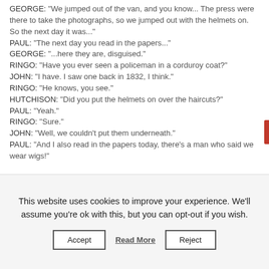GEORGE: "We jumped out of the van, and you know... The press were there to take the photographs, so we jumped out with the helmets on. So the next day it was..."
PAUL: "The next day you read in the papers..."
GEORGE: "...here they are, disguised."
RINGO: "Have you ever seen a policeman in a corduroy coat?"
JOHN: "I have. I saw one back in 1832, I think."
RINGO: "He knows, you see."
HUTCHISON: "Did you put the helmets on over the haircuts?"
PAUL: "Yeah."
RINGO: "Sure."
JOHN: "Well, we couldn't put them underneath."
PAUL: "And I also read in the papers today, there's a man who said we wear wigs!"
This website uses cookies to improve your experience. We'll assume you're ok with this, but you can opt-out if you wish.